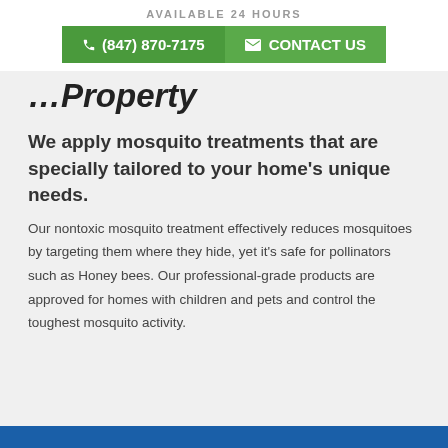AVAILABLE 24 HOURS
(847) 870-7175   CONTACT US
…Property
We apply mosquito treatments that are specially tailored to your home's unique needs.
Our nontoxic mosquito treatment effectively reduces mosquitoes by targeting them where they hide, yet it's safe for pollinators such as Honey bees. Our professional-grade products are approved for homes with children and pets and control the toughest mosquito activity.